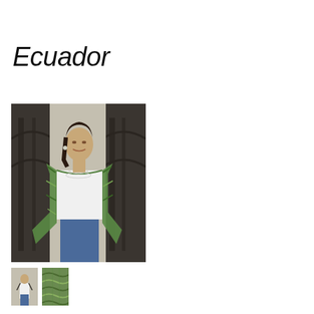Ecuador
[Figure (photo): Woman wearing a green patterned open cardigan/wrap over a white top with jeans, standing in front of an ornate dark metal door. The cardigan has a multicolored green, teal, and blue pattern.]
[Figure (photo): Small thumbnail image showing a woman in a white outfit, alternate product view.]
[Figure (photo): Small thumbnail image showing close-up detail of the green patterned cardigan fabric.]